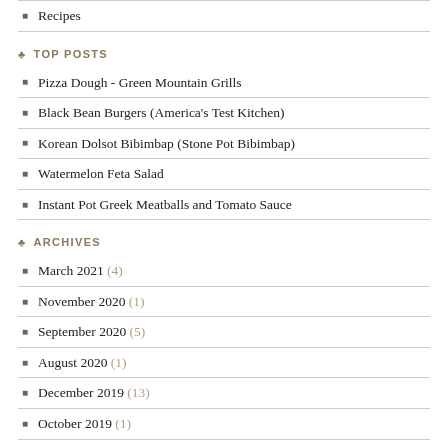Recipes
TOP POSTS
Pizza Dough - Green Mountain Grills
Black Bean Burgers (America's Test Kitchen)
Korean Dolsot Bibimbap (Stone Pot Bibimbap)
Watermelon Feta Salad
Instant Pot Greek Meatballs and Tomato Sauce
ARCHIVES
March 2021 (4)
November 2020 (1)
September 2020 (5)
August 2020 (1)
December 2019 (13)
October 2019 (1)